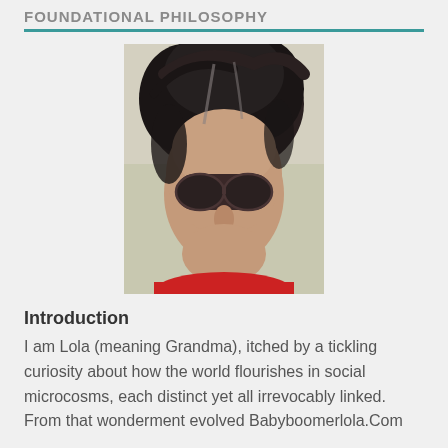FOUNDATIONAL PHILOSOPHY
[Figure (photo): Close-up photo of a person with dark curly/wavy hair wearing dark sunglasses and a red top, photographed outdoors]
Introduction
I am Lola (meaning Grandma), itched by a tickling curiosity about how the world flourishes in social microcosms, each distinct yet all irrevocably linked.  From that wonderment evolved Babyboomerlola.Com